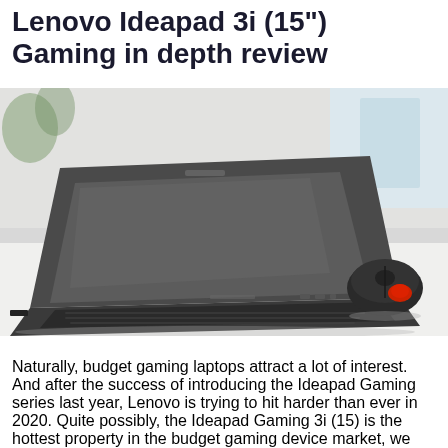Lenovo Ideapad 3i (15") Gaming in depth review
[Figure (photo): Lenovo IdeaPad Gaming laptop shown from the rear-left angle, partially open, with a black gaming mouse visible to the right, on a white desk surface]
Naturally, budget gaming laptops attract a lot of interest. And after the success of introducing the Ideapad Gaming series last year, Lenovo is trying to hit harder than ever in 2020. Quite possibly, the Ideapad Gaming 3i (15) is the hottest property in the budget gaming device market, we will see how well did Lenovo do.